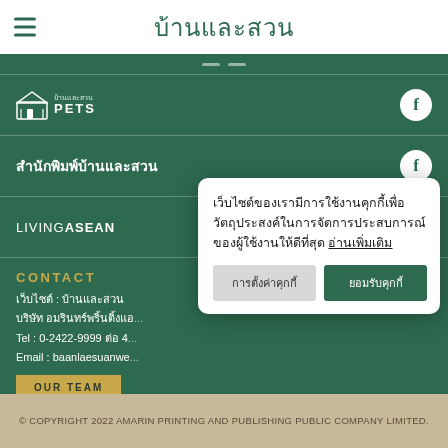บ้านและสวน
[Figure (logo): บ้านและสวน PETS logo with house icon and Facebook circle icon]
สำนักพิมพ์บ้านและสวน [Facebook icon]
LIVING ASEAN [Facebook icon] [Instagram icon]
CONTACT
เว็บไซต์ : บ้านและสวน
บริษัท อมรินทร์พริ้นติ้งแอ...
Tel : 0-2422-9999 ต่อ 4...
Email : baanlaesuanwe...
OUR TEAM
เว็บไซต์ของเรามีการใช้งานคุกกี้เพื่อวัตถุประสงค์ในการจัดการประสบการณ์ของผู้ใช้งานให้ดีที่สุด อ่านเพิ่มเติม
การตั้งค่าคุกกี้  ยอมรับคุกกี้
© COPYRIGHT 2022 AMARIN PRINTING AND PUBLISHING PUBLIC COMPANY LIMITED.